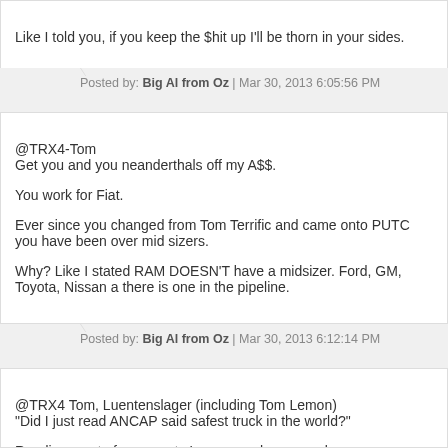Like I told you, if you keep the $hit up I'll be thorn in your sides.
Posted by: Big Al from Oz | Mar 30, 2013 6:05:56 PM
@TRX4-Tom
Get you and you neanderthals off my A$$.

You work for Fiat.

Ever since you changed from Tom Terrific and came onto PUTC you have been over mid sizers.

Why? Like I stated RAM DOESN'T have a midsizer. Ford, GM, Toyota, Nissan a... there is one in the pipeline.
Posted by: Big Al from Oz | Mar 30, 2013 6:12:14 PM
@TRX4 Tom, Luentenslager (including Tom Lemon)
"Did I just read ANCAP said safest truck in the world?"

Reading most of your posts I can see why you make so many errors.

You really are a fool. I would have thought people choosen for marketing would